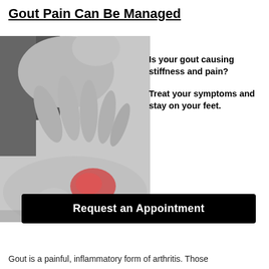Gout Pain Can Be Managed
[Figure (photo): Black and white photo of a person's hand pressing on a foot/toe area that shows a red inflamed area (gout), with overlaid text asking if gout is causing stiffness and pain, and prompting to treat symptoms. A black button reads 'Request an Appointment'.]
Gout is a painful, inflammatory form of arthritis. Those